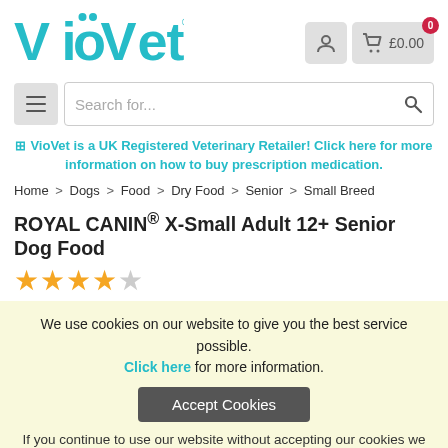[Figure (logo): VioVet logo in teal/cyan color with stylized dots over the letters i and o]
0  £0.00
Search for...
⊕ VioVet is a UK Registered Veterinary Retailer! Click here for more information on how to buy prescription medication.
Home > Dogs > Food > Dry Food > Senior > Small Breed
ROYAL CANIN® X-Small Adult 12+ Senior Dog Food
★★★★☆ (4 out of 5 stars)
We use cookies on our website to give you the best service possible. Click here for more information.
Accept Cookies
If you continue to use our website without accepting our cookies we will deem this as acceptance.